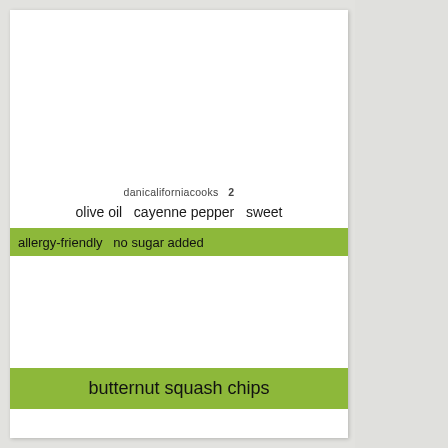danicaliforniacooks  2
olive oil  cayenne pepper  sweet
allergy-friendly  no sugar added
butternut squash chips